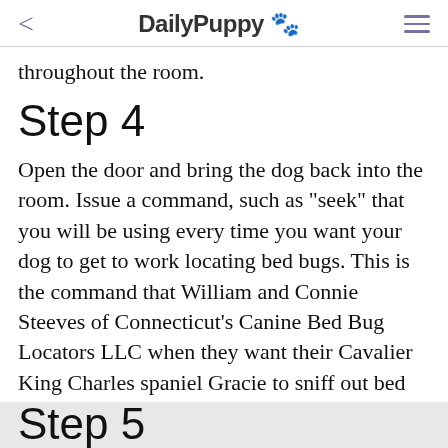DailyPuppy 🐾
throughout the room.
Step 4
Open the door and bring the dog back into the room. Issue a command, such as "seek" that you will be using every time you want your dog to get to work locating bed bugs. This is the command that William and Connie Steeves of Connecticut's Canine Bed Bug Locators LLC when they want their Cavalier King Charles spaniel Gracie to sniff out bed bugs.
Step 5